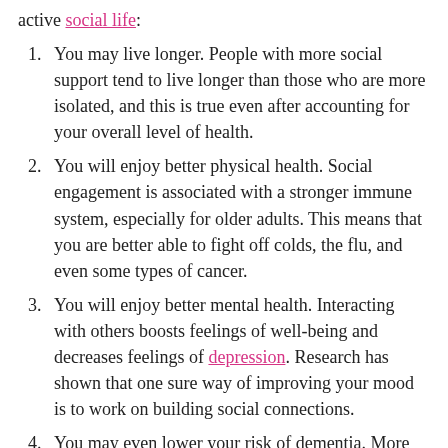active social life:
You may live longer. People with more social support tend to live longer than those who are more isolated, and this is true even after accounting for your overall level of health.
You will enjoy better physical health. Social engagement is associated with a stronger immune system, especially for older adults. This means that you are better able to fight off colds, the flu, and even some types of cancer.
You will enjoy better mental health. Interacting with others boosts feelings of well-being and decreases feelings of depression. Research has shown that one sure way of improving your mood is to work on building social connections.
You may even lower your risk of dementia. More recently, there has been